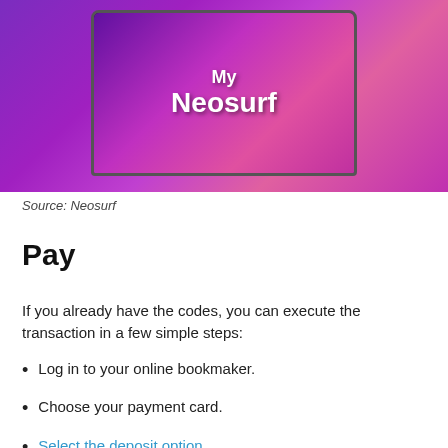[Figure (photo): Screenshot of a laptop displaying the 'My Neosurf' branded screen with purple and pink colors, set against a purple gradient background.]
Source: Neosurf
Pay
If you already have the codes, you can execute the transaction in a few simple steps:
Log in to your online bookmaker.
Choose your payment card.
Select the deposit option.
Choose Neosurf from all the options.
Enter the amount you want to transfer to your online